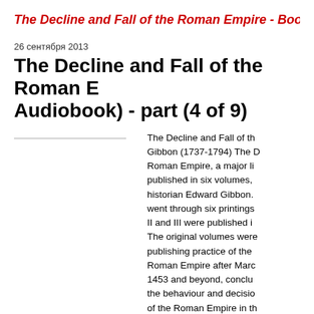The Decline and Fall of the Roman Empire - Book
26 сентября 2013
The Decline and Fall of the Roman Empire (Audiobook) - part (4 of 9)
The Decline and Fall of the Roman Empire, by Edward Gibbon (1737-1794) The Decline and Fall of the Roman Empire, a major literary and historical work published in six volumes, was written by the English historian Edward Gibbon. The first volume was published in 1776 and went through six printings. Volumes II and III were published in 1781; IV, V and VI in 1788-1789. The original volumes were published in the quarto size, the normal publishing practice of the time. It traces Western civilization (as well as the Roman Empire after Marcus Aurelius) from the height of the Roman Empire to the fall of Byzantium. Volume VI ends in 1453 and beyond, concluding with a discussion of the reasons for the behaviour and decisions of the rulers, and for the decline of the Roman Empire in the face of its enemies. Gibbon offers an explanation for why the Roman Empire fell, a task made difficult...